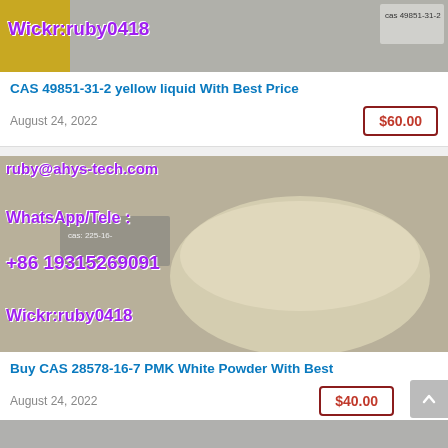[Figure (photo): Product photo showing yellow liquid with CAS 49851-31-2 label and Wickr:ruby0418 overlay text in purple]
CAS 49851-31-2 yellow liquid With Best Price
August 24, 2022
$60.00
[Figure (photo): Product photo showing white/cream powder in bowl with contact info overlay: ruby@ahys-tech.com, WhatsApp/Tele: +86 19315269091, Wickr:ruby0418]
Buy CAS 28578-16-7 PMK White Powder With Best
August 24, 2022
$40.00
[Figure (photo): Partial product photo at bottom of page]